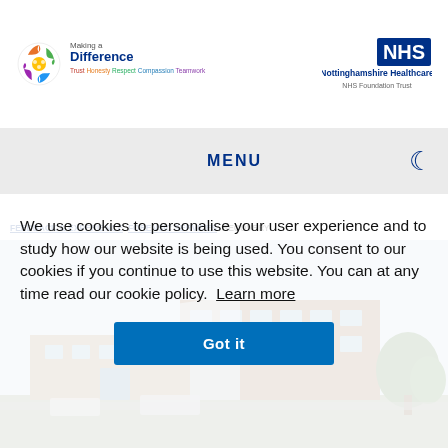[Figure (logo): Making a Difference circular logo with coloured puzzle pieces and text 'Making a Difference' with values 'Trust Honesty Respect Compassion Teamwork']
[Figure (logo): NHS Nottinghamshire Healthcare NHS Foundation Trust logo]
MENU
FEEDBACK & EXPERIENCE   FORENSIC SERVICES   RECOVERY
We use cookies to personalise your user experience and to study how our website is being used. You consent to our cookies if you continue to use this website. You can at any time read our cookie policy.  Learn more
[Figure (photo): Exterior photograph of a brick NHS building with glass entrance canopy and surrounding trees and cars]
Got it